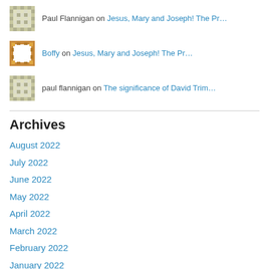Paul Flannigan on Jesus, Mary and Joseph! The Pr…
Boffy on Jesus, Mary and Joseph! The Pr…
paul flannigan on The significance of David Trim…
Archives
August 2022
July 2022
June 2022
May 2022
April 2022
March 2022
February 2022
January 2022